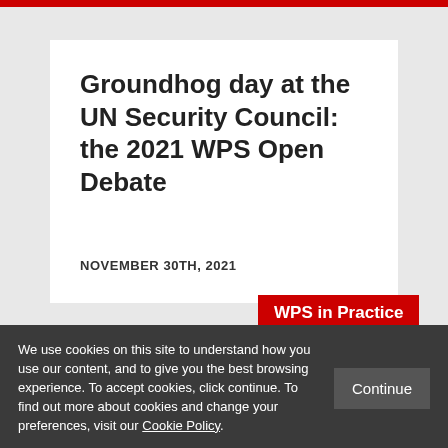Groundhog day at the UN Security Council: the 2021 WPS Open Debate
NOVEMBER 30TH, 2021
WPS in Practice
We use cookies on this site to understand how you use our content, and to give you the best browsing experience. To accept cookies, click continue. To find out more about cookies and change your preferences, visit our Cookie Policy.